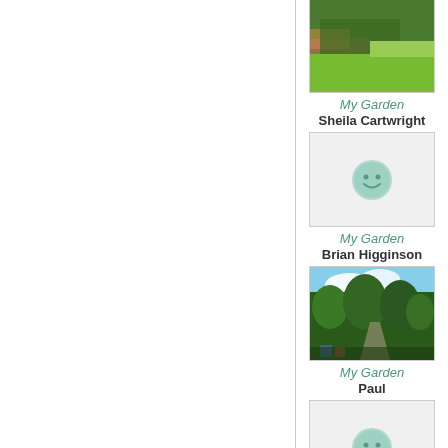[Figure (photo): Garden photo showing green lawn and flower border - Sheila Cartwright]
My Garden
Sheila Cartwright
[Figure (photo): Placeholder image with smiley icon - Brian Higginson]
My Garden
Brian Higginson
[Figure (photo): Garden photo showing trees and path with pots - Paul]
My Garden
Paul
[Figure (photo): Placeholder image with smiley icon - My Garden]
My Garden